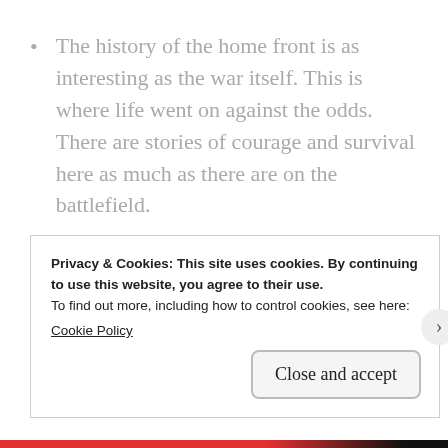The history of the home front is as interesting as the war itself. This is where life went on against the odds. There are stories of courage and survival here as much as there are on the battlefield.
Conflict: the character vows to hold on to
Privacy & Cookies: This site uses cookies. By continuing to use this website, you agree to their use.
To find out more, including how to control cookies, see here:
Cookie Policy
Close and accept